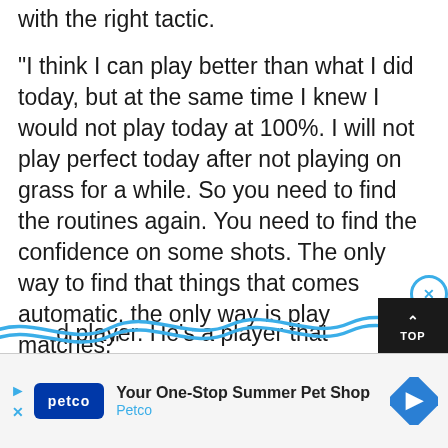with the right tactic.
"I think I can play better than what I did today, but at the same time I knew I would not play today at 100%. I will not play perfect today after not playing on grass for a while. So you need to find the routines again. You need to find the confidence on some shots. The only way to find that things that comes automatic, the only way is play matches."
Asked about his rematch with Rosol and whether he would take any lessons from his defeat two years ago, Nadal said:  "No, I lost. I lost because he's a good player. He's a player that…